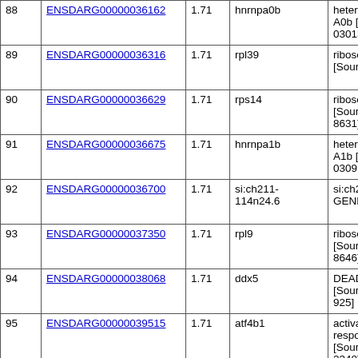| # | Gene ID | Value | Symbol | Description |
| --- | --- | --- | --- | --- |
| 88 | ENSDARG00000036162 | 1.71 | hnrnpa0b | heterogeneous nuclear ribonucleoprotein A0b [Source:ZFIN;Acc:ZDB-GENE-030131-61...] |
| 89 | ENSDARG00000036316 | 1.71 | rpl39 | ribosomal protein L39 [Source:ZF...] |
| 90 | ENSDARG00000036629 | 1.71 | rps14 | ribosomal protein S14 [Source:ZF... 8631] |
| 91 | ENSDARG00000036675 | 1.71 | hnrnpa1b | heterogeneous nuclear ribonucleoprotein A1b [Source:ZF... 030912-14...] |
| 92 | ENSDARG00000036700 | 1.71 | si:ch211-114n24.6 | si:ch211-1... GENE-120... |
| 93 | ENSDARG00000037350 | 1.71 | rpl9 | ribosomal protein L9 [Source:ZF... 8646] |
| 94 | ENSDARG00000038068 | 1.71 | ddx5 | DEAD (Asp-Glu-Ala-Asp) box polypeptide 5 [Source:Z... 925] |
| 95 | ENSDARG00000039515 | 1.71 | atf4b1 | activating transcription factor 4b1, responsive... [Source:ZF... 2340] |